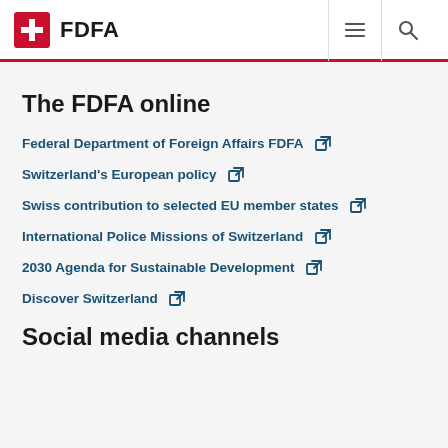FDFA
The FDFA online
Federal Department of Foreign Affairs FDFA
Switzerland's European policy
Swiss contribution to selected EU member states
International Police Missions of Switzerland
2030 Agenda for Sustainable Development
Discover Switzerland
Social media channels